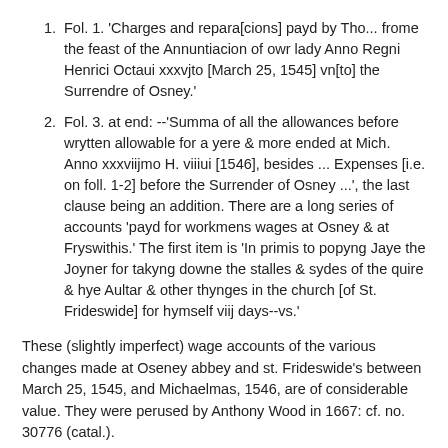Fol. 1. 'Charges and repara[cions] payd by Tho... frome the feast of the Annuntiacion of owr lady Anno Regni Henrici Octaui xxxvjto [March 25, 1545] vn[to] the Surrendre of Osney.'
Fol. 3. at end: --'Summa of all the allowances before wrytten allowable for a yere & more ended at Mich. Anno xxxviijmo H. viiiui [1546], besides ... Expenses [i.e. on foll. 1-2] before the Surrender of Osney ...', the last clause being an addition. There are a long series of accounts 'payd for workmens wages at Osney & at Fryswithis.' The first item is 'In primis to popyng Jaye the Joyner for takyng downe the stalles & sydes of the quire & hye Aultar & other thynges in the church [of St. Frideswide] for hymself viij days--vs.'
These (slightly imperfect) wage accounts of the various changes made at Oseney abbey and st. Frideswide's between March 25, 1545, and Michaelmas, 1546, are of considerable value. They were perused by Anthony Wood in 1667: cf. no. 30776 (catal.).